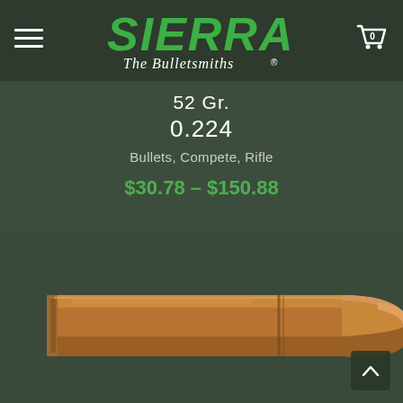Sierra The Bulletsmiths logo with menu and cart icons
52 Gr.
0.224
Bullets, Compete, Rifle
$30.78 – $150.88
[Figure (photo): Close-up photograph of a copper/bronze rifle bullet on dark green background]